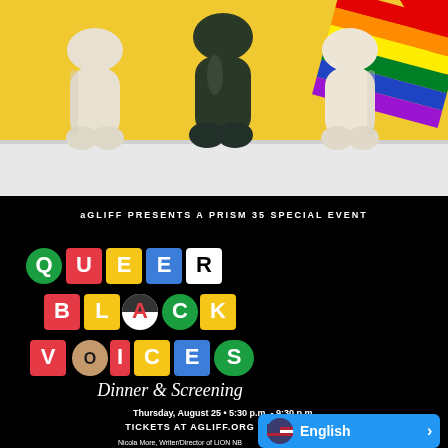[Figure (photo): Three ceramic torso-shaped vessels (two cream/white, one dark green/black) displayed on a white shelf against a yellow background, with a rainbow pride flag visible in the upper right corner.]
[Figure (photo): Event poster on black background: 'aGLIFF PRESENTS A PRISM 35 SPECIAL EVENT' at top. Large colorful geometric lettering spells 'QUEER BLACK VOICES'. Below in script font: 'Dinner & Screening'. Text: 'Thursday, August 25 • 5:30 p.m. - 9:30 p.m. TICKETS AT AGLIFF.ORG'. A circular portrait photo of a man is embedded in the 'VOICES' text. A blue language selector button showing English with US flag partially overlays the bottom right.]